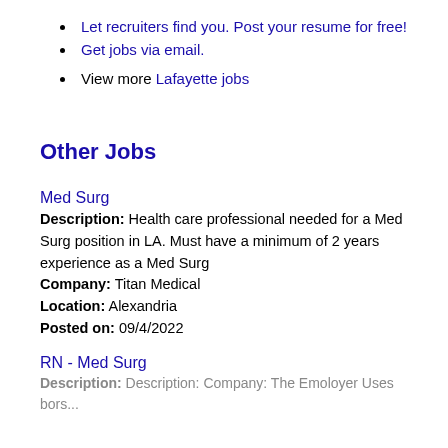Let recruiters find you. Post your resume for free!
Get jobs via email.
View more Lafayette jobs
Other Jobs
Med Surg
Description: Health care professional needed for a Med Surg position in LA. Must have a minimum of 2 years experience as a Med Surg Company: Titan Medical Location: Alexandria Posted on: 09/4/2022
RN - Med Surg